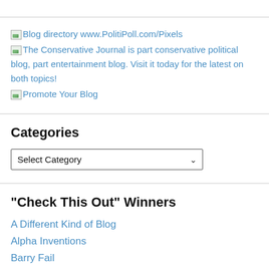Blog directory www.PolitiPoll.com/Pixels
The Conservative Journal is part conservative political blog, part entertainment blog. Visit it today for the latest on both topics!
Promote Your Blog
Categories
Select Category
"Check This Out" Winners
A Different Kind of Blog
Alpha Inventions
Barry Fail
Big Chatter
Big Government